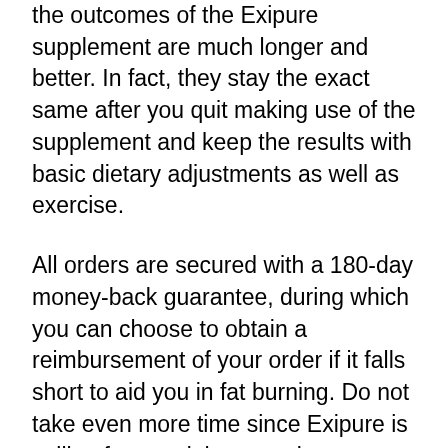the outcomes of the Exipure supplement are much longer and better. In fact, they stay the exact same after you quit making use of the supplement and keep the results with basic dietary adjustments as well as exercise.
All orders are secured with a 180-day money-back guarantee, during which you can choose to obtain a reimbursement of your order if it falls short to aid you in fat burning. Do not take even more time since Exipure is selling fast, and there are just minimal containers left. Go to the official site to confirm your order before the stock sells out.
(LOW STOCK ALERT) Click Here to Get Exipure From The Official Internet Site While Material Last